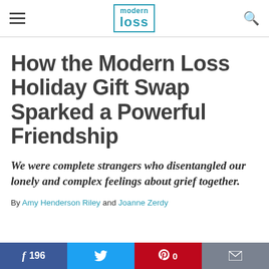modern loss
How the Modern Loss Holiday Gift Swap Sparked a Powerful Friendship
We were complete strangers who disentangled our lonely and complex feelings about grief together.
By Amy Henderson Riley and Joanne Zerdy
[Figure (infographic): Social share buttons: Facebook 196, Twitter, Pinterest 0, Email]